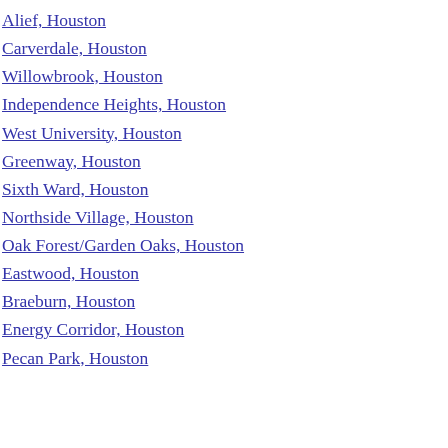Alief, Houston
Carverdale, Houston
Willowbrook, Houston
Independence Heights, Houston
West University, Houston
Greenway, Houston
Sixth Ward, Houston
Northside Village, Houston
Oak Forest/Garden Oaks, Houston
Eastwood, Houston
Braeburn, Houston
Energy Corridor, Houston
Pecan Park, Houston